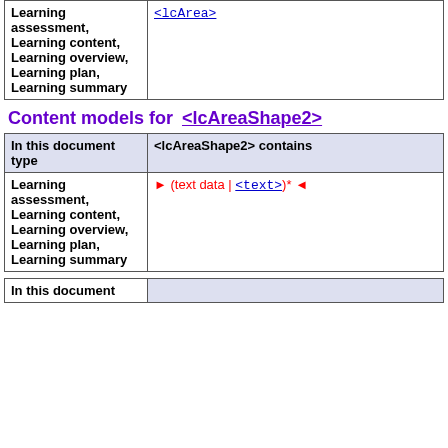|  |  |
| --- | --- |
| Learning assessment, Learning content, Learning overview, Learning plan, Learning summary | <lcArea> |
Content models for <lcAreaShape2>
| In this document type | <lcAreaShape2> contains |
| --- | --- |
| Learning assessment, Learning content, Learning overview, Learning plan, Learning summary | ► (text data | <text>)* ◄ |
| In this document |  |
| --- | --- |